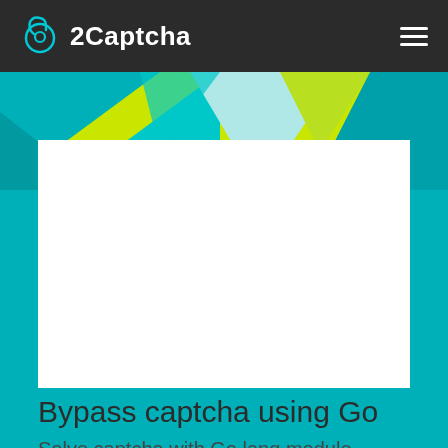2Captcha
[Figure (illustration): Geometric banner with colorful triangular shapes in yellow-green, teal, and light blue on a yellow-green background]
Bypass captcha using Go
Solve captcha with Go lang module online